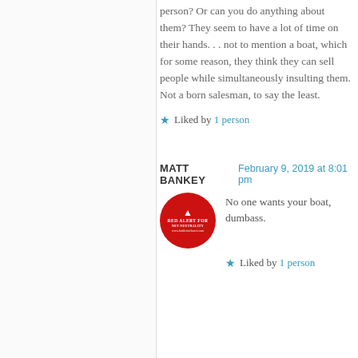person? Or can you do anything about them? They seem to have a lot of time on their hands. . . not to mention a boat, which for some reason, they think they can sell people while simultaneously insulting them. Not a born salesman, to say the least.
★ Liked by 1 person
MATT BANKEY  February 9, 2019 at 8:01 pm
[Figure (illustration): Red circle avatar with 'Red Alert for Net Neutrality' text and warning triangle icon]
No one wants your boat, dumbass.
★ Liked by 1 person